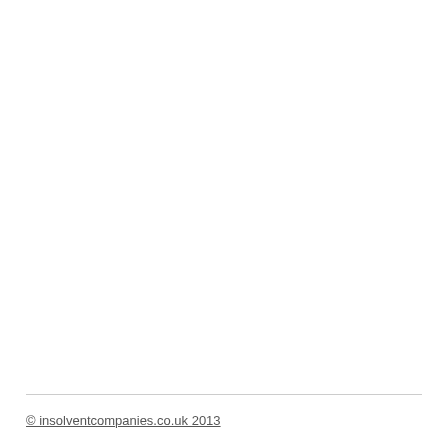© insolventcompanies.co.uk 2013